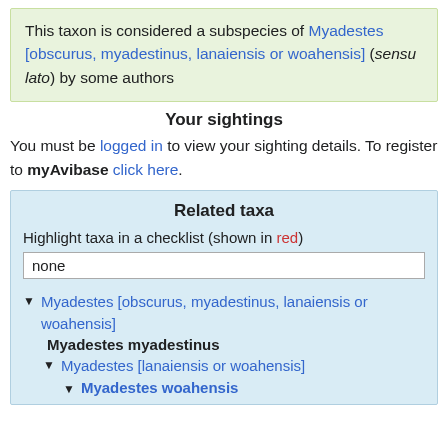This taxon is considered a subspecies of Myadestes [obscurus, myadestinus, lanaiensis or woahensis] (sensu lato) by some authors
Your sightings
You must be logged in to view your sighting details. To register to myAvibase click here.
Related taxa
Highlight taxa in a checklist (shown in red)
none
Myadestes [obscurus, myadestinus, lanaiensis or woahensis]
Myadestes myadestinus
Myadestes [lanaiensis or woahensis]
Myadestes woahensis